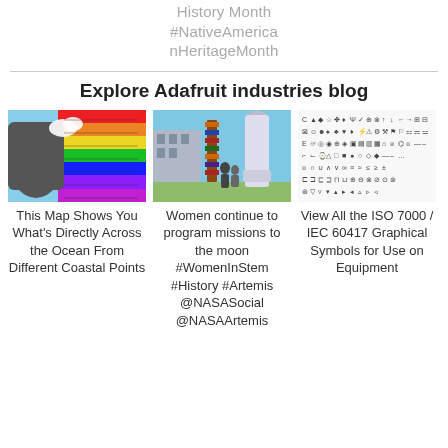History Month #NativeAmericanHeritageMonth
Explore Adafruit industries blog
[Figure (photo): Colorful map showing rainbow-striped illustration across the ocean]
This Map Shows You What's Directly Across the Ocean From Different Coastal Points
[Figure (photo): Women standing in front of a large rocket, with a tall stack of books]
Women continue to program missions to the moon #WomenInStem #History #Artemis @NASASocial @NASAArtemis
[Figure (photo): Grid of ISO 7000 / IEC 60417 graphical symbols for use on equipment]
View All the ISO 7000 / IEC 60417 Graphical Symbols for Use on Equipment